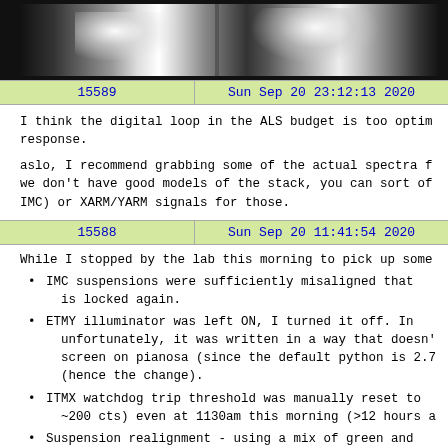[Figure (photo): Black and white photograph strip showing optical/scientific equipment with bright reflections and highlights against dark background]
| 15589 | Sun Sep 20 23:12:13 2020 |
| --- | --- |
I think the digital loop in the ALS budget is too optimistic in the response.
aslo, I recommend grabbing some of the actual spectra from the stack, we don't have good models of the stack, you can sort of use IMC) or XARM/YARM signals for those.
| 15588 | Sun Sep 20 11:41:54 2020 |
| --- | --- |
While I stopped by the lab this morning to pick up some
IMC suspensions were sufficiently misaligned that is locked again.
ETMY illuminator was left ON, I turned it off. In unfortunately, it was written in a way that doesn' screen on pianosa (since the default python is 2.7 (hence the change).
ITMX watchdog trip threshold was manually reset to ~200 cts) even at 1130am this morning (>12 hours a
Suspension realignment - using a mix of green and all the suspensions, except ETMY. I can see IR res
At some point, we should run the suspension eigenmode r remaining suspensions are they will also help in act